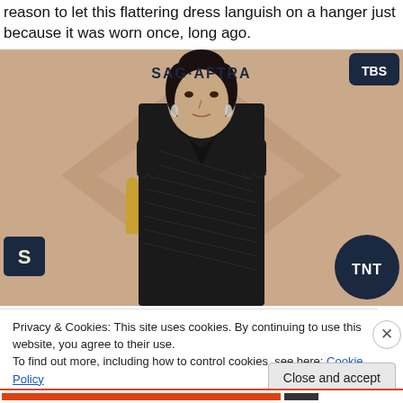reason to let this flattering dress languish on a hanger just because it was worn once, long ago.
[Figure (photo): A woman with dark hair in an updo wearing a black dress at a SAG-AFTRA event backdrop with TNT and TBS logos visible.]
Privacy & Cookies: This site uses cookies. By continuing to use this website, you agree to their use.
To find out more, including how to control cookies, see here: Cookie Policy
Close and accept